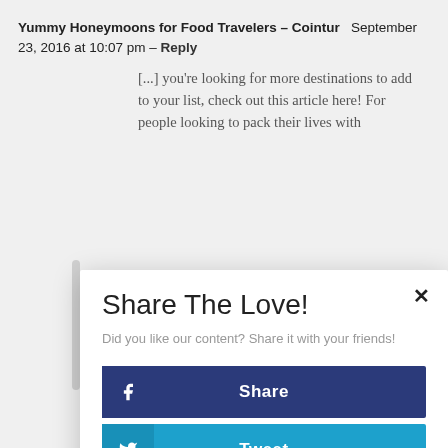Yummy Honeymoons for Food Travelers – Cointur   September 23, 2016 at 10:07 pm – Reply
[...] you're looking for more destinations to add to your list, check out this article here! For people looking to pack their lives with
Share The Love!
Did you like our content? Share it with your friends!
[Figure (screenshot): Social share buttons: Facebook Share (dark blue), Twitter Tweet (light blue), Pinterest Pin (red), LinkedIn Share (blue)]